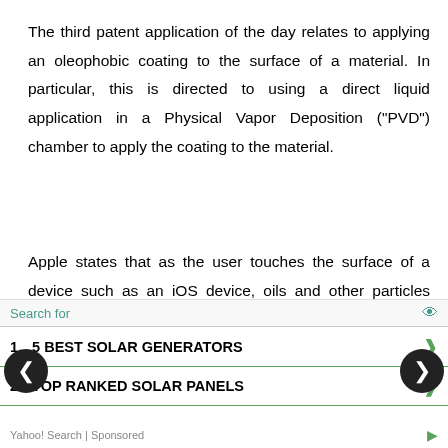The third patent application of the day relates to applying an oleophobic coating to the surface of a material. In particular, this is directed to using a direct liquid application in a Physical Vapor Deposition ("PVD") chamber to apply the coating to the material.
Apple states that as the user touches the surface of a device such as an iOS device, oils and other particles from the user's fingers could be deposited on the surface. This may adversely affect the appearance of the [device] ... ed. On [the surface] ... le. de[vice] ... ply